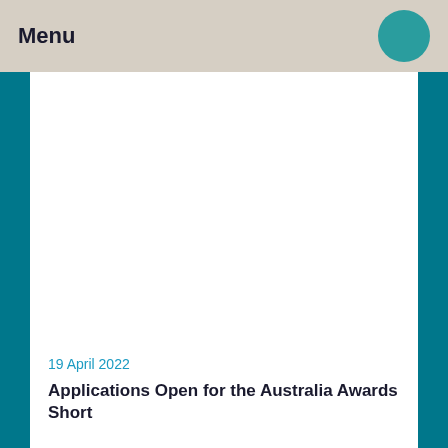Menu
[Figure (illustration): Large white image area (photo placeholder) framed by teal/dark cyan vertical bars on left and right sides]
19 April 2022
Applications Open for the Australia Awards Short